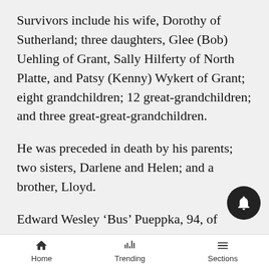Survivors include his wife, Dorothy of Sutherland; three daughters, Glee (Bob) Uehling of Grant, Sally Hilferty of North Platte, and Patsy (Kenny) Wykert of Grant; eight grandchildren; 12 great-grandchildren; and three great-great-grandchildren.
He was preceded in death by his parents; two sisters, Darlene and Helen; and a brother, Lloyd.
Edward Wesley ‘Bus’ Pueppka, 94, of McPherson County, died April 2, 2010, at his home.
He was born July 20, 1915, in Sutherland to Clarence and Bertha (Humphrey) Pueppka.
He worked for Lou Cogger in the early years, then Bill O’Connor and various ranches throughout the area.
Home   Trending   Sections